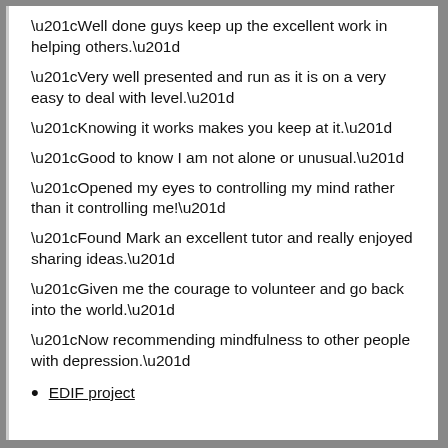“Well done guys keep up the excellent work in helping others.”
“Very well presented and run as it is on a very easy to deal with level.”
“Knowing it works makes you keep at it.”
“Good to know I am not alone or unusual.”
“Opened my eyes to controlling my mind rather than it controlling me!”
“Found Mark an excellent tutor and really enjoyed sharing ideas.”
“Given me the courage to volunteer and go back into the world.”
“Now recommending mindfulness to other people with depression.”
EDIF project